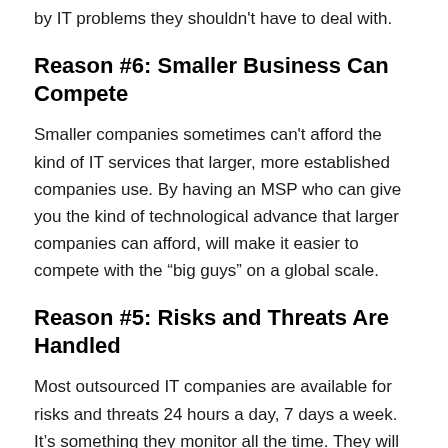by IT problems they shouldn't have to deal with.
Reason #6: Smaller Business Can Compete
Smaller companies sometimes can't afford the kind of IT services that larger, more established companies use. By having an MSP who can give you the kind of technological advance that larger companies can afford, will make it easier to compete with the “big guys” on a global scale.
Reason #5: Risks and Threats Are Handled
Most outsourced IT companies are available for risks and threats 24 hours a day, 7 days a week. It’s something they monitor all the time. They will be able to handle and manage these threats for you seamlessly to keep your company